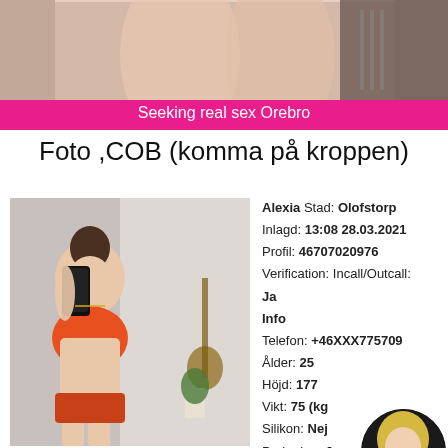[Figure (photo): Banner photo showing person's legs/body cropped at top, pink/magenta background]
Seeking real sex Orebro
Foto ,COB (komma på kroppen)
[Figure (photo): Woman in orange outfit taking mirror selfie]
Alexia Stad: Olofstorp
Inlagd: 13:08 28.03.2021
Profil: 46707020976
Verification: Incall/Outcall:
Ja
Info
Telefon: +46XXX775709
Ålder: 25
Höjd: 177
Vikt: 75 (kg)
Silikon: Nej
Parkering: Ja
[Figure (photo): Small circular avatar of blonde woman]